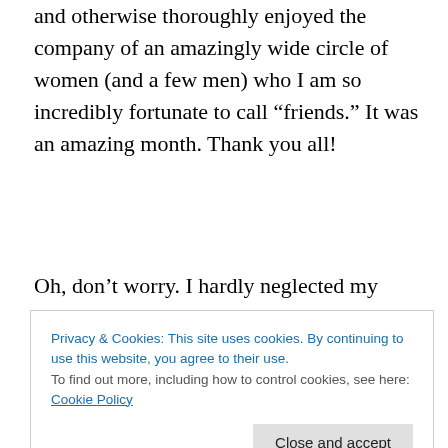and otherwise thoroughly enjoyed the company of an amazingly wide circle of women (and a few men) who I am so incredibly fortunate to call “friends.” It was an amazing month. Thank you all!
Oh, don’t worry. I hardly neglected my family. I also made elaborate dinners (a departure from my usual scrounging around in the fridge for edibles), scrubbed the house, hoed out the kids’ rooms and spent quality time with the OINKdaddy. On three Wednesdays in a row, I let Small, Medium and Large play hooky (One child at a time – I’m
Privacy & Cookies: This site uses cookies. By continuing to use this website, you agree to their use.
To find out more, including how to control cookies, see here: Cookie Policy
Because they weren’t just these last three Wednesdays.